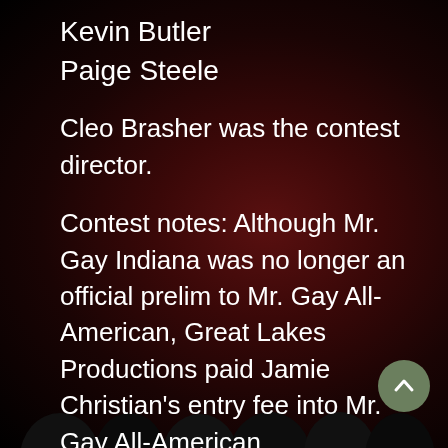Kevin Butler
Paige Steele
Cleo Brasher was the contest director.
Contest notes: Although Mr. Gay Indiana was no longer an official prelim to Mr. Gay All-American, Great Lakes Productions paid Jamie Christian's entry fee into Mr. Gay All-American.